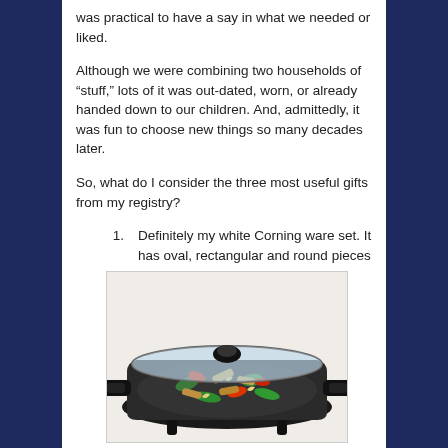was practical to have a say in what we needed or liked.
Although we were combining two households of “stuff,” lots of it was out-dated, worn, or already handed down to our children. And, admittedly, it was fun to choose new things so many decades later.
So, what do I consider the three most useful gifts from my registry?
Definitely my white Corning ware set. It has oval, rectangular and round pieces
[Figure (photo): A black electric skillet with a glass lid, containing a stir-fry of chicken, green peppers, red peppers, and cashews.]